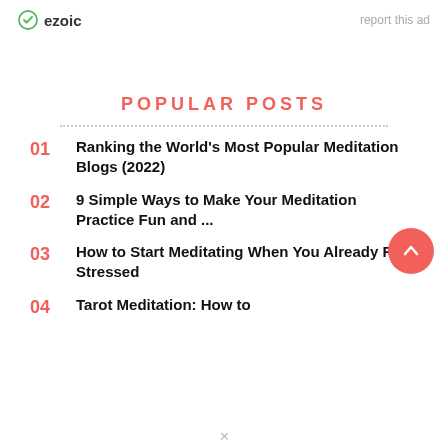ezoic   report this ad
POPULAR POSTS
01 Ranking the World's Most Popular Meditation Blogs (2022)
02 9 Simple Ways to Make Your Meditation Practice Fun and ...
03 How to Start Meditating When You Already Feel Stressed
04 Tarot Meditation: How to